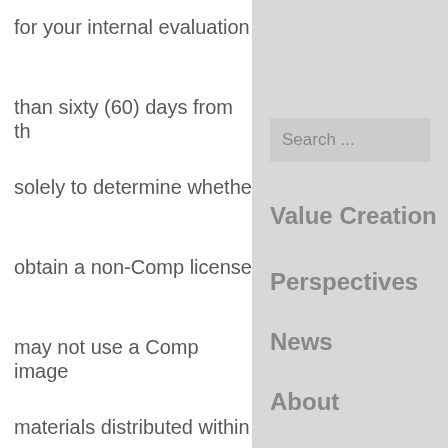for your internal evaluation than sixty (60) days from th solely to determine whethe obtain a non-Comp license may not use a Comp image materials distributed within any materials distributed ou company or to the public or other electronic distribution this limited, internal testing MB grants you no other righ copy, distribute, publish, di
[Figure (screenshot): Navigation sidebar with search box and menu items: Value Creation, Perspectives, News, About]
Value Creation
Perspectives
News
About